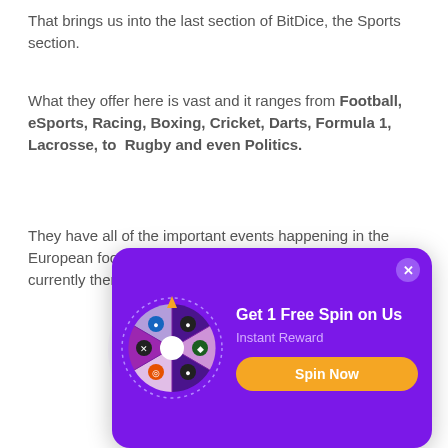That brings us into the last section of BitDice, the Sports section.
What they offer here is vast and it ranges from Football, eSports, Racing, Boxing, Cricket, Darts, Formula 1, Lacrosse, to Rugby and even Politics.
They have all of the important events happening in the European football scene as a pre-match bet option and currently there are 134 live events.
[Figure (infographic): Purple popup modal with a spinning prize wheel on the left side. The wheel has 6 colored segments with cryptocurrency icons. Text reads 'Get 1 Free Spin on Us', 'Instant Reward', and an orange 'Spin Now' button. A close (X) button is in the top right corner.]